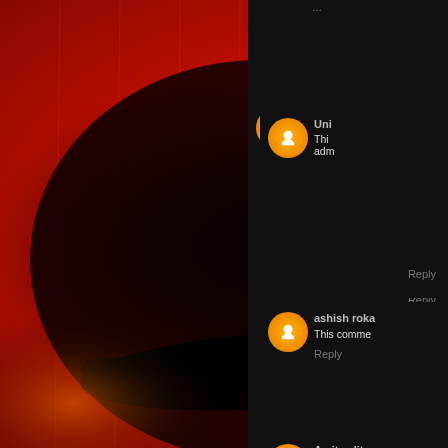[Figure (photo): Close-up of a face behind red textured glass or surface, heavily obscured, dark shadowed eye visible, dramatic red lighting]
Unknown user: This comment has been removed by a blog administrator.
Reply
ashish roka: This comment has been removed...
Reply
Amitav litar: This comment has been removed...
Reply
Amitav litar (avatar visible at bottom)